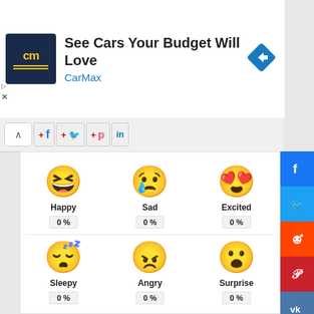[Figure (screenshot): CarMax advertisement banner with logo, tagline 'See Cars Your Budget Will Love', and navigation arrow icon]
[Figure (screenshot): Social media share bar with Facebook, Twitter, Pinterest, LinkedIn buttons]
[Figure (infographic): Emotion reaction poll with 6 emoji faces: Happy 0%, Sad 0%, Excited 0%, Sleepy 0%, Angry 0%, Surprise 0%]
[Figure (screenshot): Right sidebar with social share buttons: Facebook, Twitter, Reddit, Pinterest, VK, Email, scroll-up]